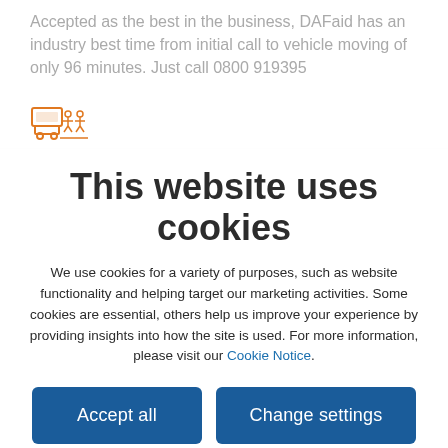Accepted as the best in the business, DAFaid has an industry best time from initial call to vehicle moving of only 96 minutes. Just call 0800 919395
[Figure (illustration): Orange icon showing a truck/vehicle with people, representing a breakdown service or fleet management icon]
This website uses cookies
We use cookies for a variety of purposes, such as website functionality and helping target our marketing activities. Some cookies are essential, others help us improve your experience by providing insights into how the site is used. For more information, please visit our Cookie Notice.